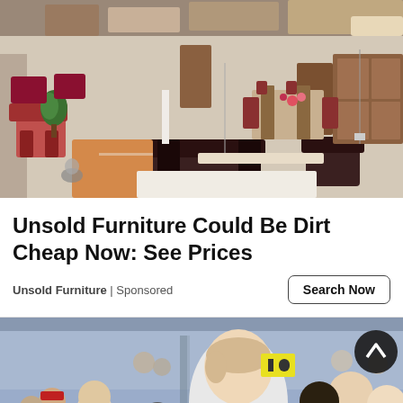[Figure (photo): Aerial view of a furniture showroom with various furniture pieces including sofas, chairs, dining sets, and cabinets arranged on a showroom floor]
Unsold Furniture Could Be Dirt Cheap Now: See Prices
Unsold Furniture | Sponsored
[Figure (photo): People at what appears to be an indoor sports event or arena, with a woman in a white sports jersey smiling and a crowd of people in the background]